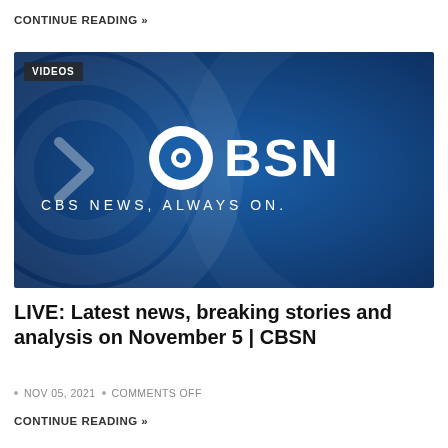CONTINUE READING »
[Figure (screenshot): CBSN video thumbnail — dark blue gradient background with a decorative circular arc pattern and a large white arrow chevron on the left. Center text: CBSN logo (CBS eye icon followed by BSN in bold white letters) and below it 'CBS NEWS, ALWAYS ON.' in white spaced caps. Top-left corner has a dark badge reading 'VIDEOS'.]
LIVE: Latest news, breaking stories and analysis on November 5 | CBSN
NOV 05, 2021   •   COMMENTS OFF
CONTINUE READING »